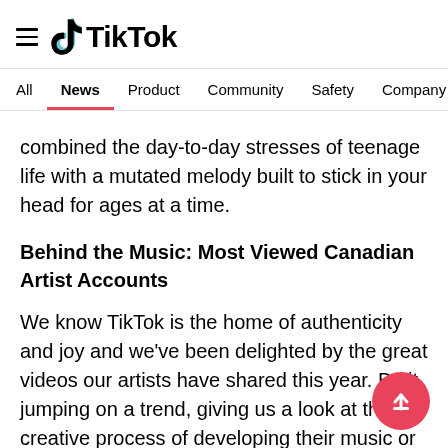TikTok
All  News  Product  Community  Safety  Company
combined the day-to-day stresses of teenage life with a mutated melody built to stick in your head for ages at a time.
Behind the Music: Most Viewed Canadian Artist Accounts
We know TikTok is the home of authenticity and joy and we've been delighted by the great videos our artists have shared this year. Be it jumping on a trend, giving us a look at the creative process of developing their music or just having fun, we've had a glimpse into their real selves, like never